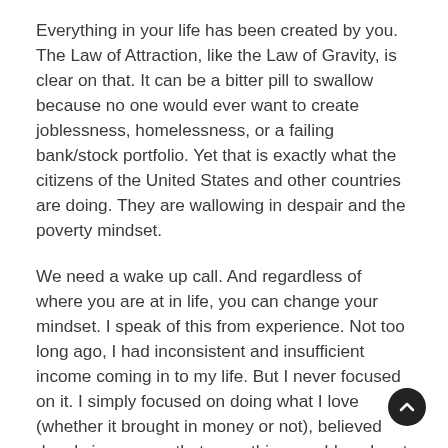Everything in your life has been created by you. The Law of Attraction, like the Law of Gravity, is clear on that. It can be a bitter pill to swallow because no one would ever want to create joblessness, homelessness, or a failing bank/stock portfolio. Yet that is exactly what the citizens of the United States and other countries are doing. They are wallowing in despair and the poverty mindset.
We need a wake up call. And regardless of where you are at in life, you can change your mindset. I speak of this from experience. Not too long ago, I had inconsistent and insufficient income coming in to my life. But I never focused on it. I simply focused on doing what I love (whether it brought in money or not), believed deeply in my core that everything would work out because it always had, stayed away from negative news reporting or discussions by friends/family, and focused my life on doing what brought me joy. This created a high-level vibration to where I truly felt abundant (financially, emotionally, and physically). I frankly had never felt so good. People in my life had no idea that I had inconsistent income because I refused to live and act like it was true. Instead, I had